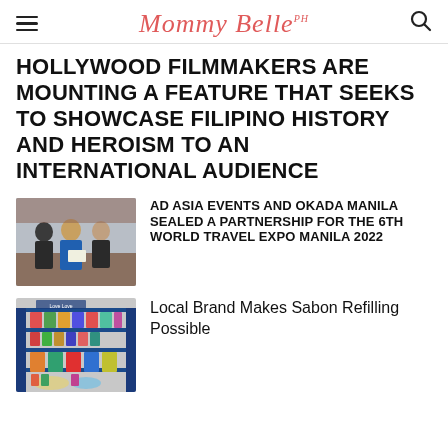Mommy Belle PH
HOLLYWOOD FILMMAKERS ARE MOUNTING A FEATURE THAT SEEKS TO SHOWCASE FILIPINO HISTORY AND HEROISM TO AN INTERNATIONAL AUDIENCE
[Figure (photo): Group of people posing for a photo at a signing event, holding a document, dressed formally]
AD ASIA EVENTS AND OKADA MANILA SEALED A PARTNERSHIP FOR THE 6TH WORLD TRAVEL EXPO MANILA 2022
[Figure (photo): Interior of a store with blue shelving and colorful products on display]
Local Brand Makes Sabon Refilling Possible